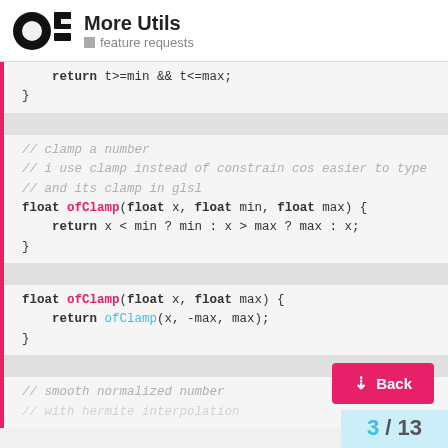More Utils — feature requests
return t>=min && t<=max;
}
// clamp a number
// i use clamp instead of constrain cos easier to type
// and its clamp in glsl
float ofClamp(float x, float min, float max) {
    return x < min ? min : x > max ? max : x;
}
float ofClamp(float x, float max) {
    return ofClamp(x, -max, max);
}
// smooth normalized number
// with hermite interpolation
3 / 13